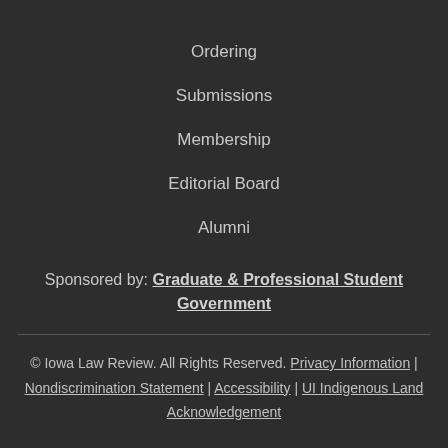Ordering
Submissions
Membership
Editorial Board
Alumni
Sponsored by: Graduate & Professional Student Government
© Iowa Law Review. All Rights Reserved. Privacy Information | Nondiscrimination Statement | Accessibility | UI Indigenous Land Acknowledgement